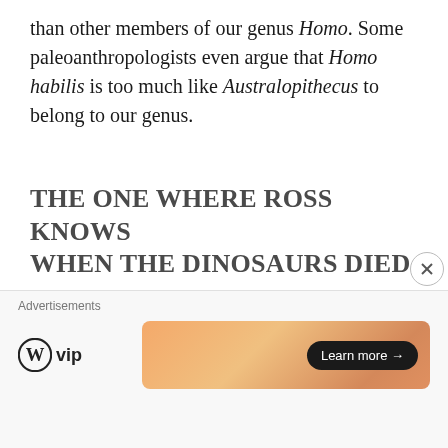than other members of our genus Homo. Some paleoanthropologists even argue that Homo habilis is too much like Australopithecus to belong to our genus.
THE ONE WHERE ROSS KNOWS WHEN THE DINOSAURS DIED
[Figure (photo): Scene from the TV show Friends: on the left, several characters sitting around a dining table in an apartment; on the right, a man in a tan shirt looking to the side.]
Advertisements
[Figure (logo): WordPress VIP logo with circular W icon and text 'vip']
[Figure (infographic): Orange gradient advertisement banner with a 'Learn more →' button]